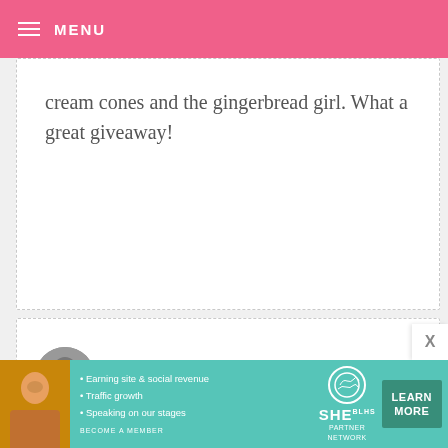MENU
cream cones and the gingerbread girl. What a great giveaway!
KIM C. — DECEMBER 17, 2013 @ 7:05 AM REPLY
I'd pick the cake pops, of course! They are so cute!
PENNY — DECEMBER 17, 2013 @ 7:02 AM REPLY
[Figure (infographic): SHE Partner Network advertisement banner with woman photo, bullet points about Earning site & social revenue, Traffic growth, Speaking on our stages, BECOME A MEMBER, and LEARN MORE button]